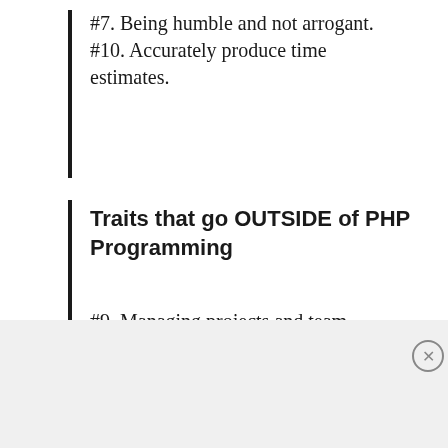#7. Being humble and not arrogant.
#10. Accurately produce time estimates.
Traits that go OUTSIDE of PHP Programming
#9. Managing projects and team members.
[Figure (infographic): DuckDuckGo advertisement banner with orange background showing 'Search, browse, and email with more privacy. All in One Free App' with a phone image and DuckDuckGo logo.]